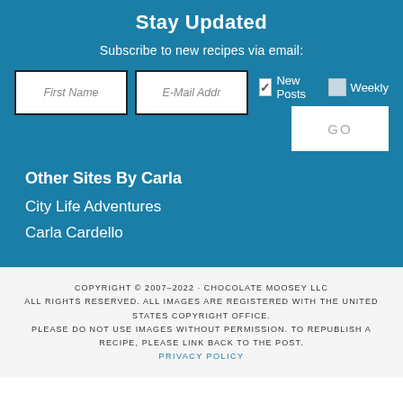Stay Updated
Subscribe to new recipes via email:
[Figure (screenshot): Email subscription form with First Name and E-Mail Addr input fields, New Posts checkbox (checked), Weekly checkbox (unchecked), and GO button]
Other Sites By Carla
City Life Adventures
Carla Cardello
COPYRIGHT © 2007–2022 · CHOCOLATE MOOSEY LLC ALL RIGHTS RESERVED. ALL IMAGES ARE REGISTERED WITH THE UNITED STATES COPYRIGHT OFFICE. PLEASE DO NOT USE IMAGES WITHOUT PERMISSION. TO REPUBLISH A RECIPE, PLEASE LINK BACK TO THE POST. PRIVACY POLICY